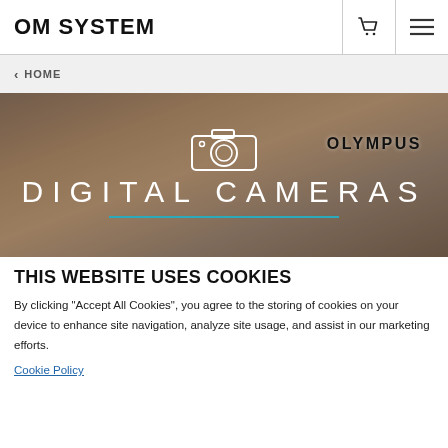OM SYSTEM
< HOME
[Figure (screenshot): Hero banner showing a person holding an Olympus camera, with a camera outline icon, the text OLYMPUS, and DIGITAL CAMERAS in large white letters on a dark background, with a teal horizontal line below]
THIS WEBSITE USES COOKIES
By clicking “Accept All Cookies”, you agree to the storing of cookies on your device to enhance site navigation, analyze site usage, and assist in our marketing efforts.
Cookie Policy